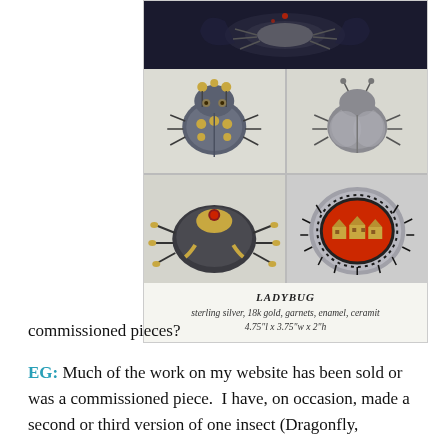[Figure (photo): Composite photo showing a LADYBUG sculpture made of sterling silver, 18k gold, garnets, enamel, ceramit. Top image shows a side/front view of the insect sculpture on dark background. Bottom left shows front view of ladybug brooch with gold accents. Bottom right shows top/plain silver view. Middle left shows underside/belly view of beetle. Middle right shows back plate with red enamel and gold house decorations.]
LADYBUG
sterling silver, 18k gold, garnets, enamel, ceramit
4.75"l x 3.75"w x 2"h
commissioned pieces?
EG: Much of the work on my website has been sold or was a commissioned piece.  I have, on occasion, made a second or third version of one insect (Dragonfly,